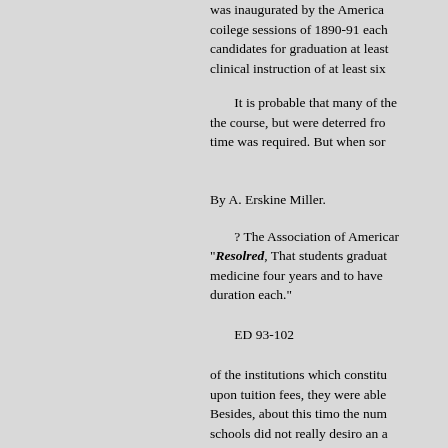was inaugurated by the American college sessions of 1890-91 each candidates for graduation at least clinical instruction of at least six
It is probable that many of the the course, but were deterred fro time was required. But when son
By A. Erskine Miller.
? The Association of American "Resolved, That students graduat medicine four years and to have duration each."
ED 93-102
of the institutions which constitu upon tuition fees, they were able Besides, about this timo the num schools did not really desiro an a course they would still have as m to gain credit for themselves and
Many of the State boards of heal exacts a full three years' course o